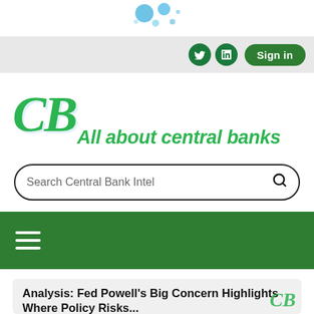[Figure (logo): Decorative blue dots/bubbles at top of page]
Sign in | Twitter | LinkedIn navigation bar
[Figure (logo): CB All about central banks logo in green script and text]
Search Central Bank Intel
[Figure (other): Green navigation bar with hamburger menu icon]
Analysis: Fed Powell's Big Concern Highlights Where Policy Risks...
(This Analysis was first published on Friday, October 1 at 4:17 PM as email to premium subscribers)
By Sophia Rodrigues